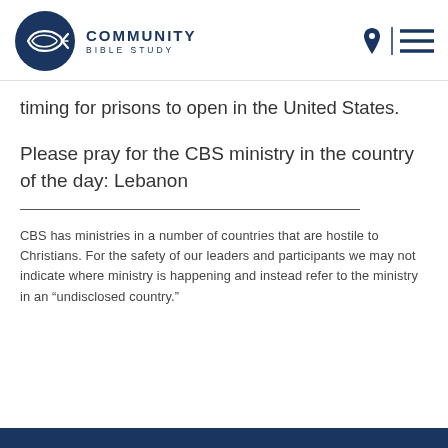[Figure (logo): Community Bible Study logo — dark navy circle with fish symbol, text 'COMMUNITY BIBLE STUDY' to the right]
timing for prisons to open in the United States.
Please pray for the CBS ministry in the country of the day: Lebanon
CBS has ministries in a number of countries that are hostile to Christians. For the safety of our leaders and participants we may not indicate where ministry is happening and instead refer to the ministry in an “undisclosed country.”